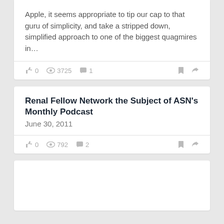Apple, it seems appropriate to tip our cap to that guru of simplicity, and take a stripped down, simplified approach to one of the biggest quagmires in…
👍 0  👁 3725  💬 1
Renal Fellow Network the Subject of ASN's Monthly Podcast
June 30, 2011
👍 0  👁 792  💬 2